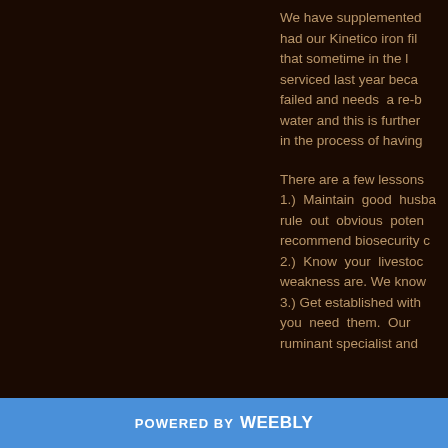We have supplemented had our Kinetico iron fil that sometime in the l serviced last year beca failed and needs a re-b water and this is further in the process of having
There are a few lessons 1.) Maintain good husba rule out obvious poten recommend biosecurity c 2.) Know your livestoc weakness are. We know 3.) Get established with you need them. Our ruminant specialist and
POWERED BY weebly